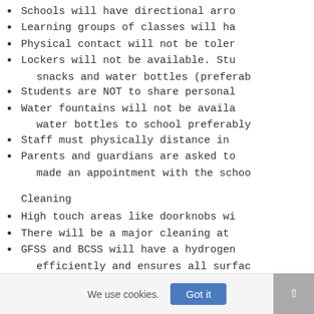Schools will have directional arro
Learning groups of classes will ha
Physical contact will not be toler
Lockers will not be available. Stu snacks and water bottles (preferab
Students are NOT to share personal
Water fountains will not be availa water bottles to school preferably
Staff must physically distance in
Parents and guardians are asked to made an appointment with the schoo
Cleaning
High touch areas like doorknobs wi
There will be a major cleaning at
GFSS and BCSS will have a hydrogen efficiently and ensures all surfac